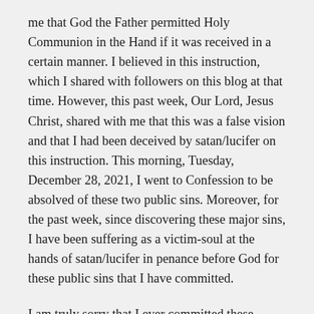me that God the Father permitted Holy Communion in the Hand if it was received in a certain manner. I believed in this instruction, which I shared with followers on this blog at that time. However, this past week, Our Lord, Jesus Christ, shared with me that this was a false vision and that I had been deceived by satan/lucifer on this instruction. This morning, Tuesday, December 28, 2021, I went to Confession to be absolved of these two public sins. Moreover, for the past week, since discovering these major sins, I have been suffering as a victim-soul at the hands of satan/lucifer in penance before God for these public sins that I have committed.
I am truly sorry that I ever committed these public sins and that I have encouraged others to commit them. I have published the Original Repentance and this Clarification Statement in the hopes of rectifying my